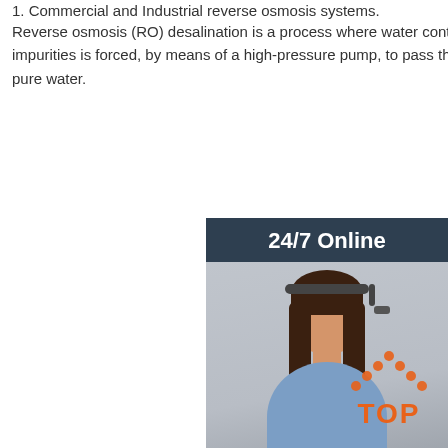1. Commercial and Industrial reverse osmosis systems.
Reverse osmosis (RO) desalination is a process where water containing inorganic dissolved salts and other impurities is forced, by means of a high-pressure pump, to pass through a semi-permeable membrane to produce pure water.
[Figure (other): Orange 'Get Price' button]
[Figure (other): Sidebar with '24/7 Online' header, customer service representative photo with headset, 'Click here for free chat!' text, and orange QUOTATION button on dark navy background]
[Figure (photo): Pink bucket hat with white text reading 'THE RAWEST' on a light grey background]
[Figure (logo): TOP logo with dotted triangle/house shape above the word TOP in orange]